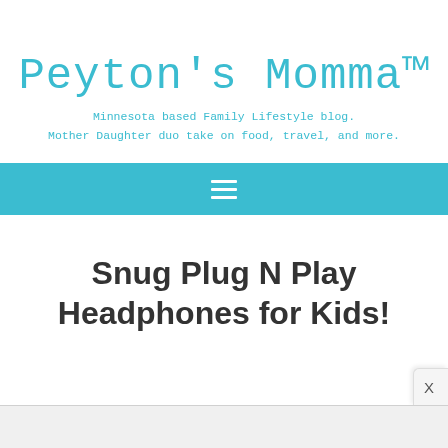Peyton's Momma™
Minnesota based Family Lifestyle blog.
Mother Daughter duo take on food, travel, and more.
[Figure (other): Teal navigation bar with hamburger menu icon (three horizontal white lines)]
Snug Plug N Play Headphones for Kids!